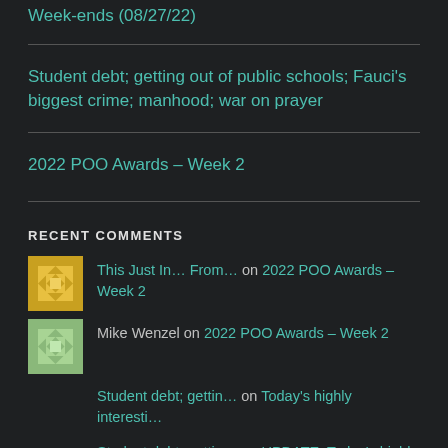Week-ends (08/27/22)
Student debt; getting out of public schools; Fauci's biggest crime; manhood; war on prayer
2022 POO Awards – Week 2
RECENT COMMENTS
This Just In… From… on 2022 POO Awards – Week 2
Mike Wenzel on 2022 POO Awards – Week 2
Student debt; gettin… on Today's highly interesti…
Student debt; gettin… on UPDATE: Today's highly interes…